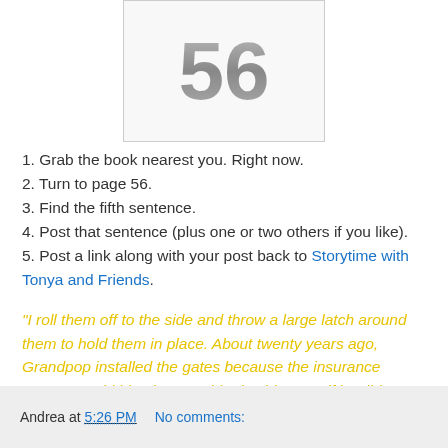[Figure (illustration): Image showing the number 56 in large gray metallic-style numerals on a white/light background with a thin border]
1. Grab the book nearest you. Right now.
2. Turn to page 56.
3. Find the fifth sentence.
4. Post that sentence (plus one or two others if you like).
5. Post a link along with your post back to Storytime with Tonya and Friends.
"I roll them off to the side and throw a large latch around them to hold them in place. About twenty years ago, Grandpop installed the gates because the insurance company told him they would raise his rates if he didn't." From Very Valentine by Adriana Trigiani
Andrea at 5:26 PM    No comments: